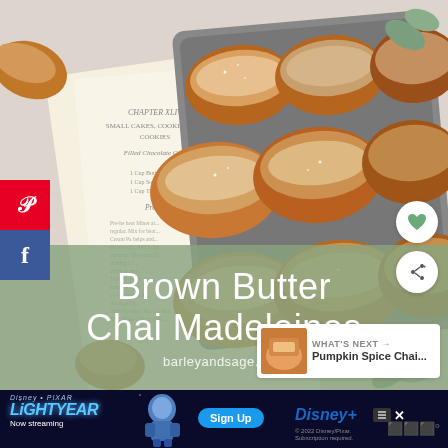[Figure (photo): Overhead photo of brown butter chai madeleines in a madeleine baking pan, with an old cookbook open underneath. Green eucalyptus leaves visible in the corner. Madeleines are golden brown with powdered sugar on top.]
Brown Butter Chai Madeleines
barleyandsage.com
WHAT'S NEXT → Pumpkin Spice Chai...
[Figure (screenshot): Disney Pixar Lightyear advertisement banner. Shows Lightyear character, Disney+ logo, Sign Up button. Text: Now streaming. Copyright 2022 Disney/Pixar. Subscription required.]